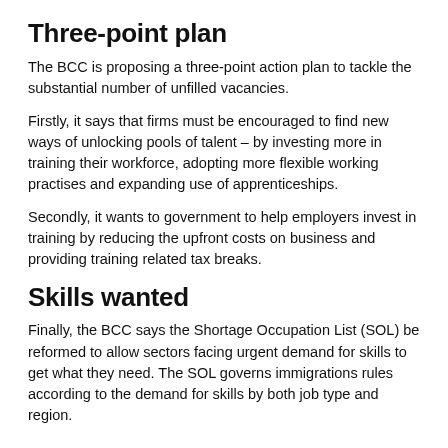Three-point plan
The BCC is proposing a three-point action plan to tackle the substantial number of unfilled vacancies.
Firstly, it says that firms must be encouraged to find new ways of unlocking pools of talent – by investing more in training their workforce, adopting more flexible working practises and expanding use of apprenticeships.
Secondly, it wants to government to help employers invest in training by reducing the upfront costs on business and providing training related tax breaks.
Skills wanted
Finally, the BCC says the Shortage Occupation List (SOL) be reformed to allow sectors facing urgent demand for skills to get what they need. The SOL governs immigrations rules according to the demand for skills by both job type and region.